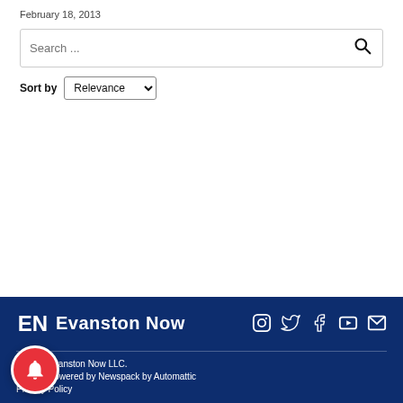February 18, 2013
Search ...
Sort by Relevance
[Figure (logo): Evanston Now logo with EN icon and text 'Evanston Now', social media icons for Instagram, Twitter, Facebook, YouTube, and Email]
© 2022 Evanston Now LLC.
Proudly powered by Newspack by Automattic
Privacy Policy